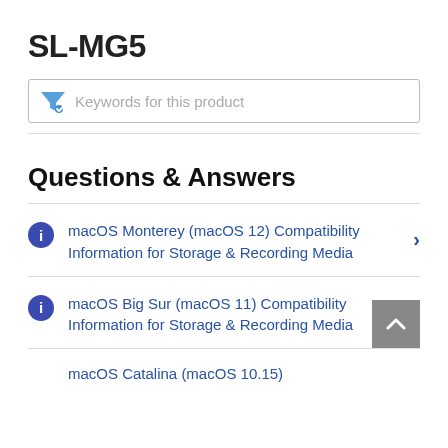SL-MG5
[Figure (other): Search/filter input box with funnel icon and placeholder text 'Keywords for this product']
Questions & Answers
macOS Monterey (macOS 12) Compatibility Information for Storage & Recording Media
macOS Big Sur (macOS 11) Compatibility Information for Storage & Recording Media
macOS Catalina (macOS 10.15)